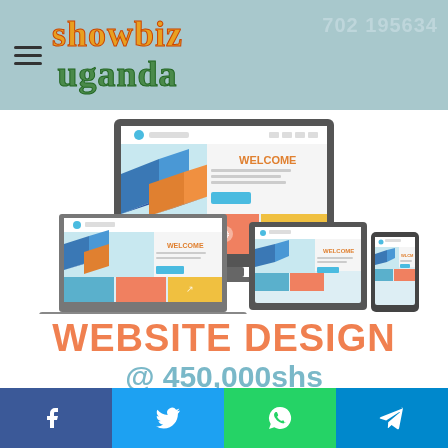showbiz uganda
[Figure (illustration): Responsive web design illustration showing a desktop monitor, laptop, tablet, and smartphone all displaying a website with WELCOME text, colorful tiles in blue, orange, and teal]
WEBSITE DESIGN
@ 450,000shs
+256 702 195634
Facebook | Twitter | WhatsApp | Telegram social share buttons